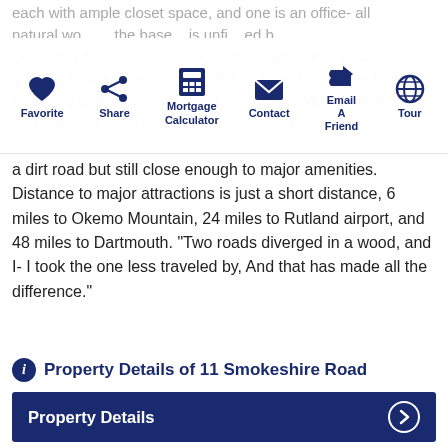each with ample closet space, and one is an office- all natural wood floors. The basement is unfinished but clean and dry with all utilities, a small gym and a washer & dryer. Kayak, hike and trail all day, then come home to a charming and welcoming home on 3 acres. Manageable and private, it's the best of both worlds. Tucked away on a dirt road but still close enough to major amenities. Distance to major attractions is just a short distance, 6 miles to Okemo Mountain, 24 miles to Rutland airport, and 48 miles to Dartmouth. "Two roads diverged in a wood, and I- I took the one less traveled by, And that has made all the difference."
[Figure (infographic): Toolbar with icons: Favorite (heart), Share, Mortgage Calculator, Contact (envelope), Email A Friend (reply), Tour (globe)]
Property Details of 11 Smokeshire Road
Property Details